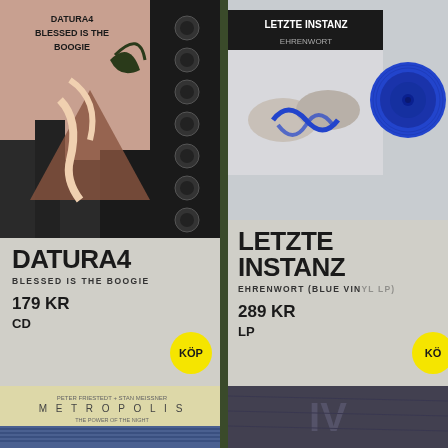[Figure (photo): Datura4 'Blessed Is The Boogie' album cover art - vintage style with speakers and city scene]
[Figure (photo): Letzte Instanz 'Ehrenwort' album cover with blue vinyl record - two hands bound together with blue cord against grey background]
DATURA4
BLESSED IS THE BOOGIE
179 KR
CD
KÖP
LETZTE INSTANZ
EHRENWORT (BLUE VINYL LP)
289 KR
LP
KÖP
[Figure (photo): Metropolis album cover - Peter Friestedt + Stan Meissner, 'The Power of The Night', yellow/blue artwork]
[Figure (photo): Bottom right album - dark textured cover with 'IV' text visible]